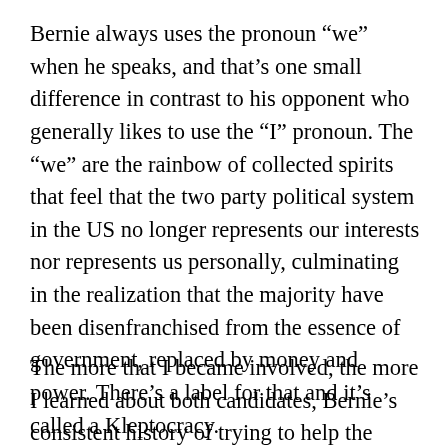Bernie always uses the pronoun “we” when he speaks, and that’s one small difference in contrast to his opponent who generally likes to use the “I” pronoun. The “we” are the rainbow of collected spirits that feel that the two party political system in the US no longer represents our interests nor represents us personally, culminating in the realization that the majority have been disenfranchised from the essence of government, replaced by money and power. There’s a label for that and it’s called a Kleptocracy.
The more that I became involved, the more I learned about both candidates, Bernie’s consistent history of trying to help the